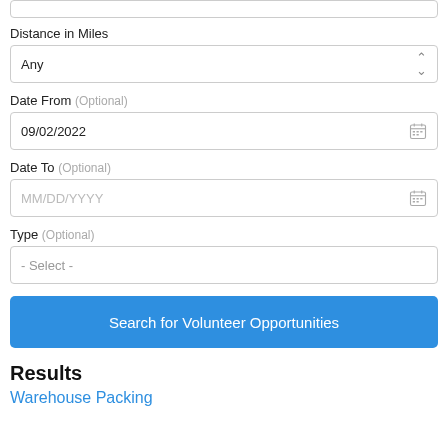Distance in Miles
Any
Date From (Optional)
09/02/2022
Date To (Optional)
MM/DD/YYYY
Type (Optional)
- Select -
Search for Volunteer Opportunities
Results
Warehouse Packing